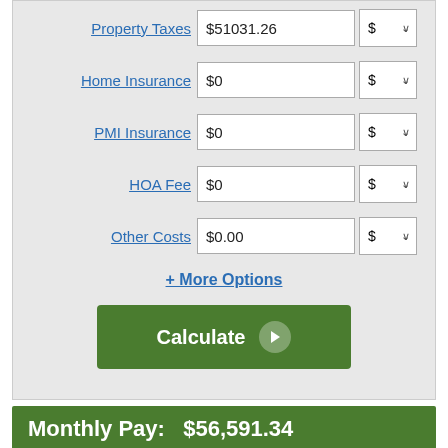Property Taxes | $51031.26 | $
Home Insurance | $0 | $
PMI Insurance | $0 | $
HOA Fee | $0 | $
Other Costs | $0.00 | $
+ More Options
Calculate
Monthly Pay:   $56,591.34
|  | Monthly | Total |
| --- | --- | --- |
| Mortgage Payment | $56,591.34 | $16,977,403.01 |
| Property Tax | $4,252.61 | $1,275,781.50 |
| Total Out of Pocket | $60,843.95 | $18,253,184.51 |